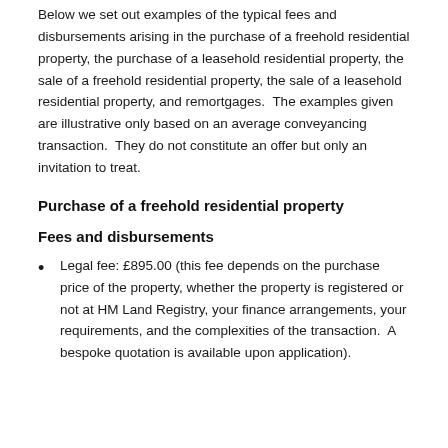Below we set out examples of the typical fees and disbursements arising in the purchase of a freehold residential property, the purchase of a leasehold residential property, the sale of a freehold residential property, the sale of a leasehold residential property, and remortgages.  The examples given are illustrative only based on an average conveyancing transaction.  They do not constitute an offer but only an invitation to treat.
Purchase of a freehold residential property
Fees and disbursements
Legal fee: £895.00 (this fee depends on the purchase price of the property, whether the property is registered or not at HM Land Registry, your finance arrangements, your requirements, and the complexities of the transaction.  A bespoke quotation is available upon application).